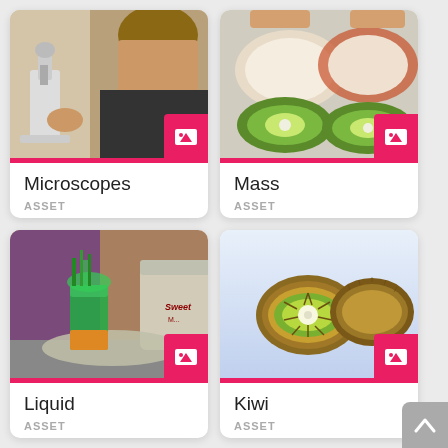[Figure (photo): Person using a microscope in a lab]
Microscopes
ASSET
[Figure (photo): Sliced kiwi fruits with bowls]
Mass
ASSET
[Figure (photo): Green liquid experiment with jars and beakers]
Liquid
ASSET
[Figure (illustration): Illustrated kiwi fruit slices on light blue background]
Kiwi
ASSET